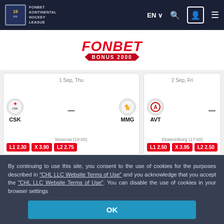FONBET KONTINENTAL HOCKEY LEAGUE | EN | search | user | menu
[Figure (infographic): FONBET BONUS 2000 banner with italic red FONBET text and red pentagon-shaped BONUS 2000 badge]
[Figure (infographic): Match card: CSK vs MMG, 1 Sep Thu, Moscow 19:00, odds L1 2.30 X 3.90 L2 2.75]
[Figure (infographic): Match card (partial): AVT, 2 Sep Fri, Ekaterinburg 17:00, odds L1 2.50 X 3.95 L2 2.5x]
By continuing to use this site, you consent to the use of cookies for the purposes described in "CHL LLC Website Terms of Use" and you acknowledge that you accept the "CHL LLC Website Terms of Use". You can disable the use of cookies in your browser settings
OK
27 September 2017, 12:00   TOP 10 OF THE WEEK
Salev wine circle level